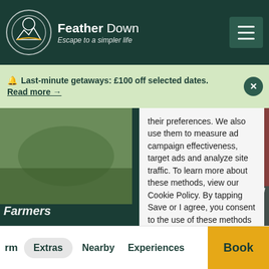Feather Down — Escape to a simpler life
Last-minute getaways: £100 off selected dates. Read more →
their preferences. We also use them to measure ad campaign effectiveness, target ads and analyze site traffic. To learn more about these methods, view our Cookie Policy. By tapping Save or I agree, you consent to the use of these methods by us and third parties.
Farmers
rm  Extras  Nearby  Experiences  Book